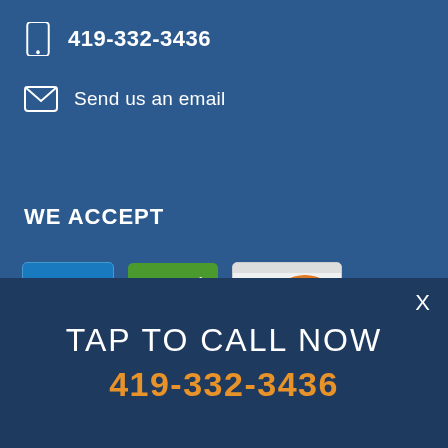419-332-3436
Send us an email
WE ACCEPT
[Figure (infographic): Payment method logos: CASH, Personal Checks, Discover, MasterCard, Visa]
TAP TO CALL NOW
419-332-3436